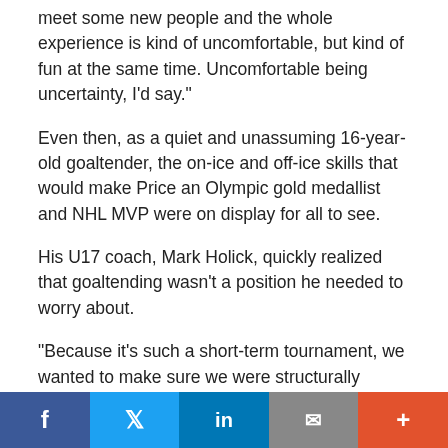meet some new people and the whole experience is kind of uncomfortable, but kind of fun at the same time. Uncomfortable being uncertainty, I’d say.”
Even then, as a quiet and unassuming 16-year-old goaltender, the on-ice and off-ice skills that would make Price an Olympic gold medallist and NHL MVP were on display for all to see.
His U17 coach, Mark Holick, quickly realized that goaltending wasn’t a position he needed to worry about.
“Because it’s such a short-term tournament, we wanted to make sure we were structurally sound and had our game in order,” says Holick. “But with Carey, we knew if there were breakdowns or mistakes that we were in good shape no matter what.
“I had never seen a kid with so much focus and attention to detail, it was second to none for him. Just the way he carried himself; it wasn’t arrogance, but the
f  🐦  in  ✉  +